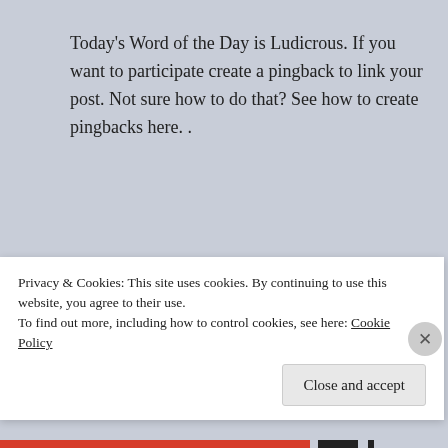Today's Word of the Day is Ludicrous. If you want to participate create a pingback to link your post. Not sure how to do that? See how to create pingbacks here. .
Share this:
[Figure (other): Twitter and Facebook share buttons]
Loading:
Privacy & Cookies: This site uses cookies. By continuing to use this website, you agree to their use. To find out more, including how to control cookies, see here: Cookie Policy
Close and accept